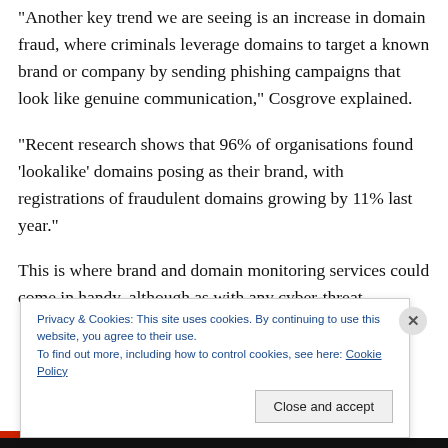“Another key trend we are seeing is an increase in domain fraud, where criminals leverage domains to target a known brand or company by sending phishing campaigns that look like genuine communication,” Cosgrove explained.
“Recent research shows that 96% of organisations found ‘lookalike’ domains posing as their brand, with registrations of fraudulent domains growing by 11% last year.”
This is where brand and domain monitoring services could come in handy, although as with any cyber-threat,
Privacy & Cookies: This site uses cookies. By continuing to use this website, you agree to their use.
To find out more, including how to control cookies, see here: Cookie Policy
Close and accept